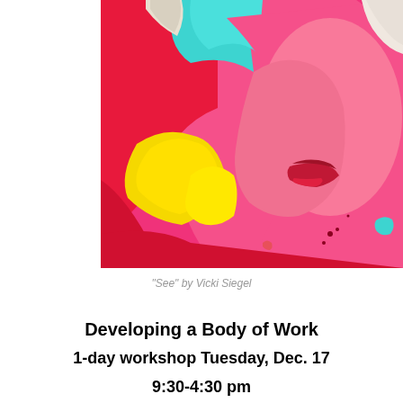[Figure (illustration): Abstract colorful mixed-media artwork showing a woman's face in pink tones with bold brushstrokes of red, yellow, teal/cyan, and white collage elements. The composition is vibrant with hot pink dominating the figure, red lips visible, yellow brushstrokes on the lower left, and teal geometric shapes at the top.]
“See” by Vicki Siegel
Developing a Body of Work
1-day workshop Tuesday, Dec. 17
9:30-4:30 pm